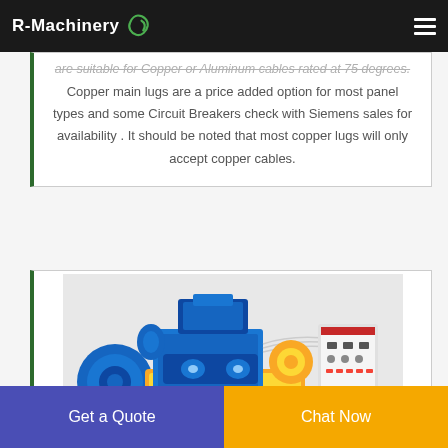R-Machinery
are suitable for Copper or Aluminum cables rated at 75 degrees. Copper main lugs are a price added option for most panel types and some Circuit Breakers check with Siemens sales for availability . It should be noted that most copper lugs will only accept copper cables.
[Figure (photo): Industrial cable processing machine with blue and yellow body, featuring rollers and an electrical control panel on the right side.]
Get a Quote
Chat Now